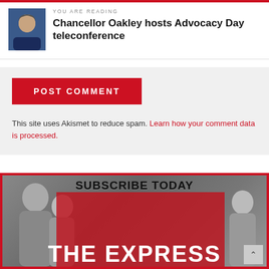YOU ARE READING
Chancellor Oakley hosts Advocacy Day teleconference
POST COMMENT
This site uses Akismet to reduce spam. Learn how your comment data is processed.
[Figure (screenshot): Subscribe Today banner for The Express newsletter with people in background]
SUBSCRIBE TODAY
THE EXPRESS